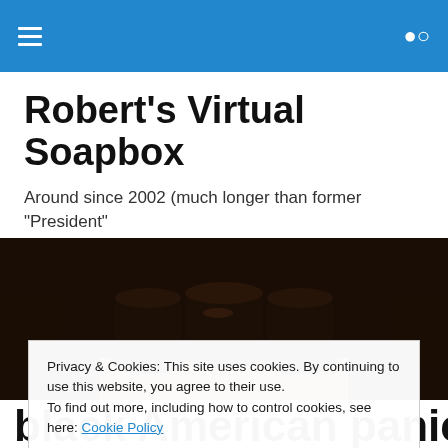Robert's Virtual Soapbox — navigation bar with hamburger menu and search icon
Robert's Virtual Soapbox
Around since 2002 (much longer than former "President" Pussygrabber's "blog" lasted!)
[Figure (photo): Dark close-up photograph of leather shoes/boots resting on a wooden soapbox or crate, dark brown moody background]
Privacy & Cookies: This site uses cookies. By continuing to use this website, you agree to their use.
To find out more, including how to control cookies, see here: Cookie Policy
Close and accept
black American panic?